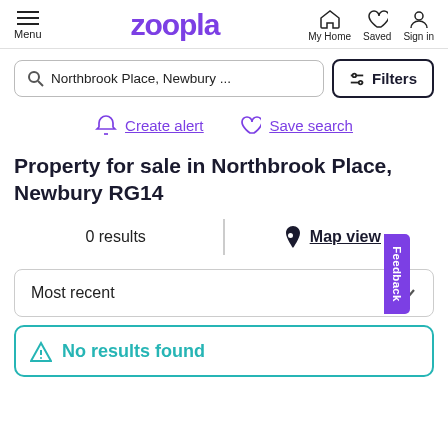Zoopla — Menu, My Home, Saved, Sign in
Northbrook Place, Newbury ...
Filters
Create alert
Save search
Property for sale in Northbrook Place, Newbury RG14
0 results
Map view
Most recent
No results found